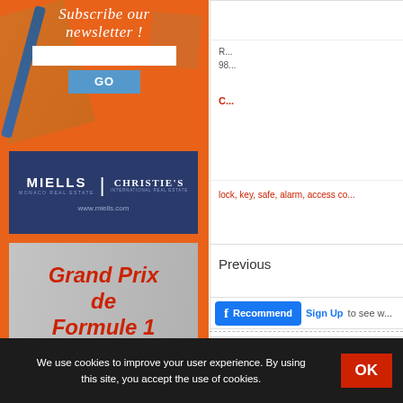[Figure (illustration): Orange sidebar background with newsletter subscription area featuring decorative script text 'Subscribe our newsletter!', a text input field, and a blue GO button. Below that is a Miells Christie's Monaco Real Estate advertisement in dark blue, a Grand Prix de Formule 1 Monaco advertisement, and a Transfert Helicoptere advertisement.]
Clés minute
R... 98...
C...
lock, key, safe, alarm, access co...
Previous
[Figure (screenshot): Facebook Recommend button with Sign Up link and 'to see w...' text]
We use cookies to improve your user experience. By using this site, you accept the use of cookies.